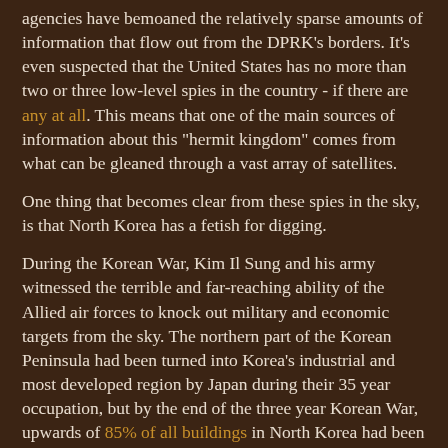agencies have bemoaned the relatively sparse amounts of information that flow out from the DPRK's borders. It's even suspected that the United States has no more than two or three low-level spies in the country - if there are any at all. This means that one of the main sources of information about this "hermit kingdom" comes from what can be gleaned through a vast array of satellites.
One thing that becomes clear from these spies in the sky, is that North Korea has a fetish for digging.
During the Korean War, Kim Il Sung and his army witnessed the terrible and far-reaching ability of the Allied air forces to knock out military and economic targets from the sky. The northern part of the Korean Peninsula had been turned into Korea's industrial and most developed region by Japan during their 35 year occupation, but by the end of the three year Korean War, upwards of 85% of all buildings in North Korea had been completely or partially destroyed. The Korean War saw more tonnage of bombs dropped than in the whole of the Pacific Theater of WWII.
Kim Il Sung demonstrated that from...